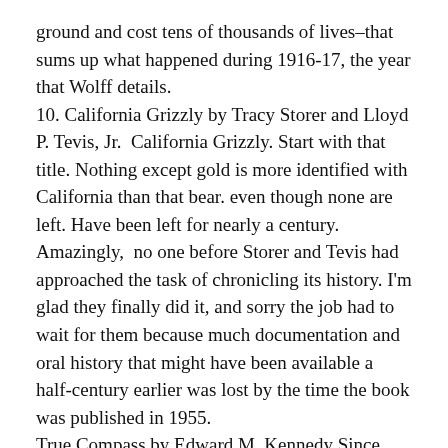ground and cost tens of thousands of lives–that sums up what happened during 1916-17, the year that Wolff details.
10. California Grizzly by Tracy Storer and Lloyd P. Tevis, Jr.  California Grizzly. Start with that title. Nothing except gold is more identified with California than that bear. even though none are left. Have been left for nearly a century. Amazingly,  no one before Storer and Tevis had approached the task of chronicling its history. I'm glad they finally did it, and sorry the job had to wait for them because much documentation and oral history that might have been available a half-century earlier was lost by the time the book was published in 1955.
True Compass by Edward M. Kennedy Since Kennedy and brothers and family lived so much of their lives in public, and since they always seemed to be center stage in the pivotal moments of the last sixty years or so, reading this book seemed a little